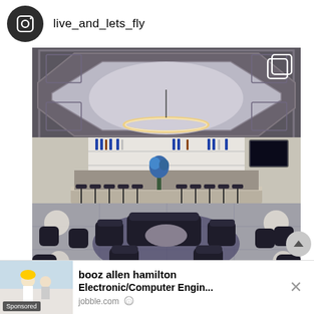live_and_lets_fly
[Figure (photo): Interior of an upscale hotel bar/lounge with coffered ceiling, circular pendant light, full bar with shelves of bottles, dark leather seating, and marble floors.]
booz allen hamilton Electronic/Computer Engin... jobble.com Sponsored